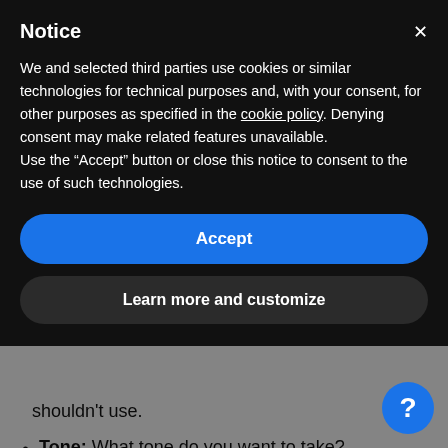Notice
We and selected third parties use cookies or similar technologies for technical purposes and, with your consent, for other purposes as specified in the cookie policy. Denying consent may make related features unavailable.
Use the "Accept" button or close this notice to consent to the use of such technologies.
Accept
Learn more and customize
shouldn't use.
Tone: What tone do you want to take? For example, will you sound formal and professional, or do you want to sound